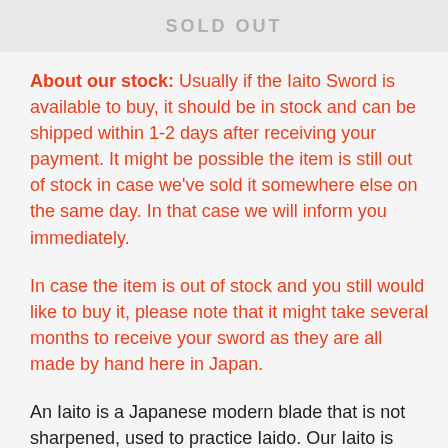SOLD OUT
About our stock: Usually if the Iaito Sword is available to buy, it should be in stock and can be shipped within 1-2 days after receiving your payment. It might be possible the item is still out of stock in case we've sold it somewhere else on the same day. In that case we will inform you immediately.
In case the item is out of stock and you still would like to buy it, please note that it might take several months to receive your sword as they are all made by hand here in Japan.
An Iaito is a Japanese modern blade that is not sharpened, used to practice Iaido. Our Iaito is made with high-quality zinc alloy, which is must stronger than aluminum alloy, which most common Iaito are made from. Despite the katana being in Japanese history for many years, the Iaito is fairly recent,